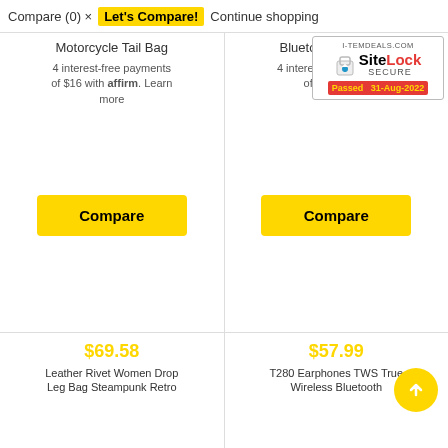Compare (0) × Let's Compare! Continue shopping
Motorcycle Tail Bag
4 interest-free payments of $16 with affirm. Learn more
Bluetooth Speakers
4 interest-free payments of $17 with ...
[Figure (logo): SiteLock SECURE badge with I-TEMDEALS.COM domain, padlock icon, and Passed 31-Aug-2022 label]
Compare
Compare
ⓘ With over 40,000 inventory ready to ship. Allow 7-10 Working days delivery. Some product may take up to 14 days if they are not currently in Our Warehouse but be assured to receive them. Affirm/Klarna Supported.
Dismiss
[Figure (screenshot): Shopping cart icon with 0 badge]
$69.58
Leather Rivet Women Drop Leg Bag Steampunk Retro
$57.99
T280 Earphones TWS True Wireless Bluetooth